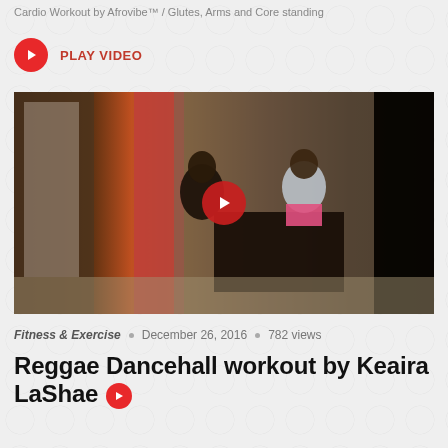Cardio Workout by Afrovibe™ / Glutes, Arms and Core standing
PLAY VIDEO
[Figure (screenshot): Video thumbnail showing two women performing a reggae dancehall workout move in a living room with a stone fireplace. A red play button overlay is centered on the image.]
Fitness & Exercise • December 26, 2016 • 782 views
Reggae Dancehall workout by Keaira LaShae ▶